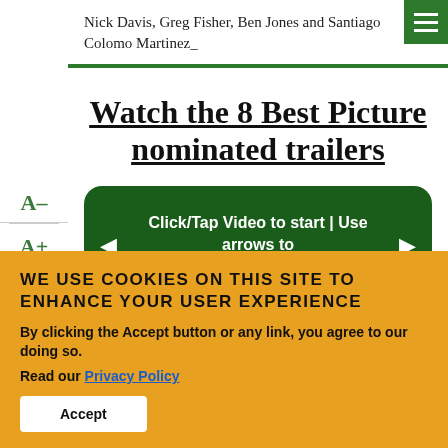Nick Davis, Greg Fisher, Ben Jones and Santiago Colomo Martinez_
A–
A+
98% read
Watch the 8 Best Picture nominated trailers
[Figure (screenshot): Dark green video player box with left arrow, text 'Click/Tap Video to start | Use arrows to navigate between Trailers', and right arrow]
WE USE COOKIES ON THIS SITE TO ENHANCE YOUR USER EXPERIENCE
By clicking the Accept button or any link, you agree to our doing so.
Read our Privacy Policy